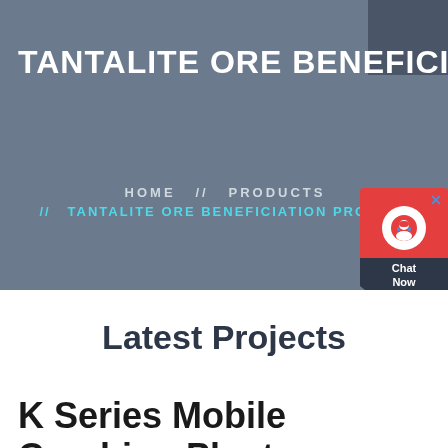TANTALITE ORE BENEFICIATION
HOME // PRODUCTS // TANTALITE ORE BENEFICIATION PROCESS
[Figure (other): Live chat widget with red top section showing headset icon and close button, and dark bottom section with 'Chat Now' text]
Latest Projects
K Series Mobile Crushing Plant